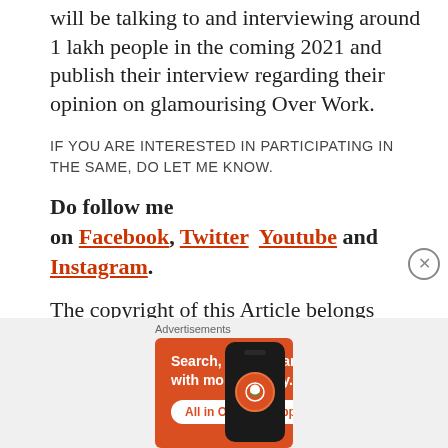will be talking to and interviewing around 1 lakh people in the coming 2021 and publish their interview regarding their opinion on glamourising Over Work.
IF YOU ARE INTERESTED IN PARTICIPATING IN THE SAME, DO LET ME KNOW.
Do follow me on Facebook, Twitter Youtube and Instagram.
The copyright of this Article belongs exclusively to Ms. Aishwarya
[Figure (screenshot): DuckDuckGo advertisement banner with orange background. Text reads: Search, browse, and email with more privacy. All in One Free App. Shows DuckDuckGo logo on a phone mockup.]